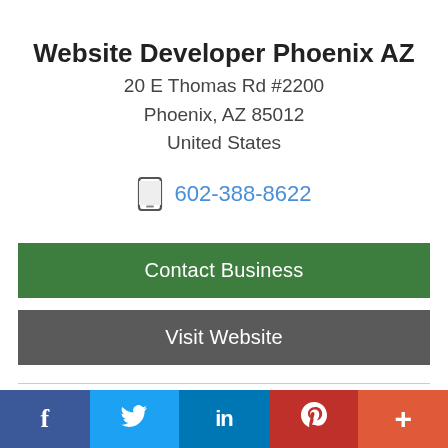Website Developer Phoenix AZ
20 E Thomas Rd #2200
Phoenix, AZ 85012
United States
602-388-8622
Contact Business
Visit Website
Hours
Mon-Sat 7am to 6pm
[Figure (other): Social media share bar with Facebook, Twitter, LinkedIn, Pinterest, and More buttons]